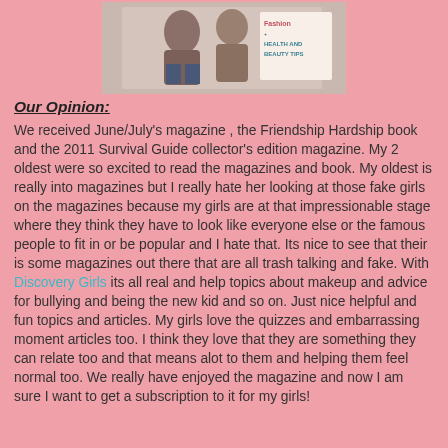[Figure (photo): Partial image of magazine cover showing people and text 'Fashion + Health and Beauty Tips']
Our Opinion:
We received June/July's magazine , the Friendship Hardship book and the 2011 Survival Guide collector's edition magazine. My 2 oldest were so excited to read the magazines and book. My oldest is really into magazines but I really hate her looking at those fake girls on the magazines because my girls are at that impressionable stage where they think they have to look like everyone else or the famous people to fit in or be popular and I hate that. Its nice to see that their is some magazines out there that are all trash talking and fake. With Discovery Girls its all real and help topics about makeup and advice for bullying and being the new kid and so on. Just nice helpful and fun topics and articles. My girls love the quizzes and embarrassing moment articles too. I think they love that they are something they can relate too and that means alot to them and helping them feel normal too. We really have enjoyed the magazine and now I am sure I want to get a subscription to it for my girls!